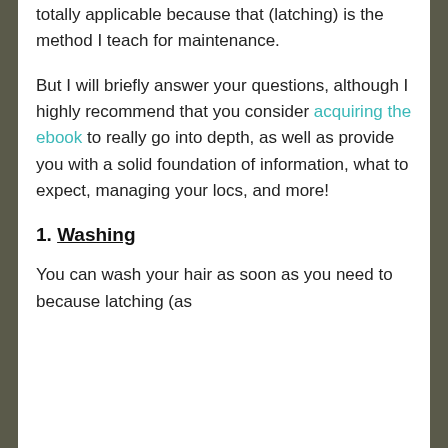totally applicable because that (latching) is the method I teach for maintenance.
But I will briefly answer your questions, although I highly recommend that you consider acquiring the ebook to really go into depth, as well as provide you with a solid foundation of information, what to expect, managing your locs, and more!
1. Washing
You can wash your hair as soon as you need to because latching (as